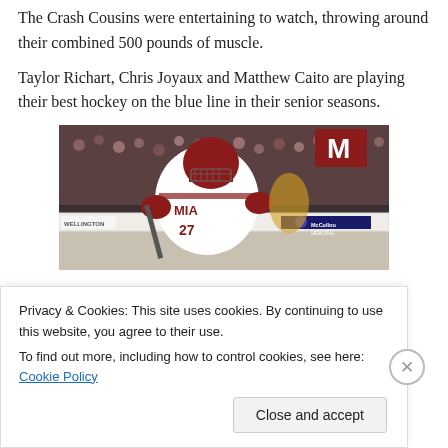The Crash Cousins were entertaining to watch, throwing around their combined 500 pounds of muscle.
Taylor Richart, Chris Joyaux and Matthew Caito are playing their best hockey on the blue line in their senior seasons.
[Figure (photo): A Miami University hockey player wearing white and red jersey with number 27, skating on the ice during a game. Arena boards show Wellington and McCullough Memorial sponsors, and an M logo is visible in the background.]
Privacy & Cookies: This site uses cookies. By continuing to use this website, you agree to their use.
To find out more, including how to control cookies, see here: Cookie Policy
Close and accept